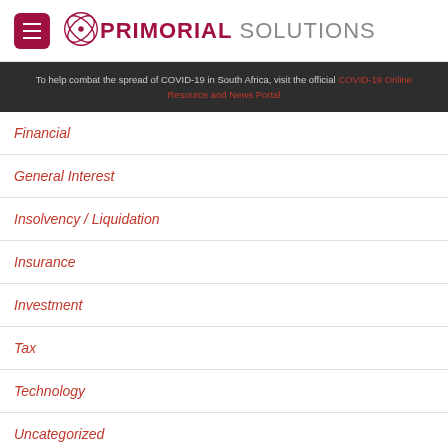Primorial Solutions
To help combat the spread of COVID-19 in South Africa, visit the official COVID-19 Online Resource and News Portal
Financial
General Interest
Insolvency / Liquidation
Insurance
Investment
Tax
Technology
Uncategorized